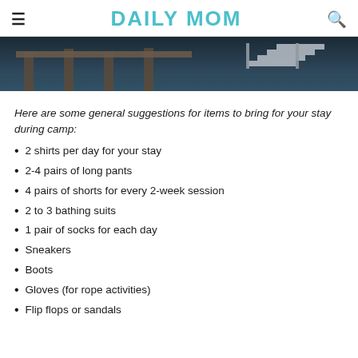DAILY MOM
[Figure (photo): Partial view of a wooden dock or pier structure with stairs, photographed from below or at an angle, dark tones with blue/grey water and wooden beams visible.]
Here are some general suggestions for items to bring for your stay during camp:
2 shirts per day for your stay
2-4 pairs of long pants
4 pairs of shorts for every 2-week session
2 to 3 bathing suits
1 pair of socks for each day
Sneakers
Boots
Gloves (for rope activities)
Flip flops or sandals